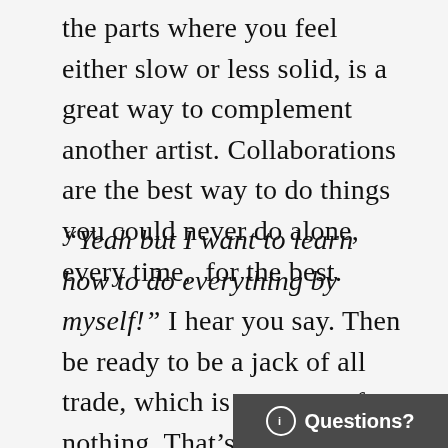the parts where you feel either slow or less solid, is a great way to complement another artist. Collaborations are the best way to do things you could never do alone, every time, for the best.
“Yeah but I want to learn how to do everything by myself!” I hear you say. Then be ready to be a jack of all trade, which is a master of nothing. That’s not a bad thing, but then you might never shine at what you’re supposed to be great at, simply because you’re spreading your precious time on different tasks that others could do better. The thing is, you’ll get b everything if you also work with